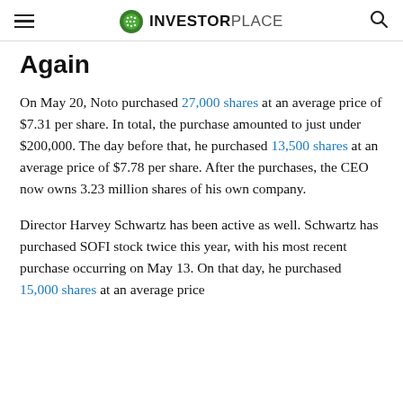INVESTORPLACE
Again
On May 20, Noto purchased 27,000 shares at an average price of $7.31 per share. In total, the purchase amounted to just under $200,000. The day before that, he purchased 13,500 shares at an average price of $7.78 per share. After the purchases, the CEO now owns 3.23 million shares of his own company.
Director Harvey Schwartz has been active as well. Schwartz has purchased SOFI stock twice this year, with his most recent purchase occurring on May 13. On that day, he purchased 15,000 shares at an average price of $8.58 per share. In total, the purchase amounted...